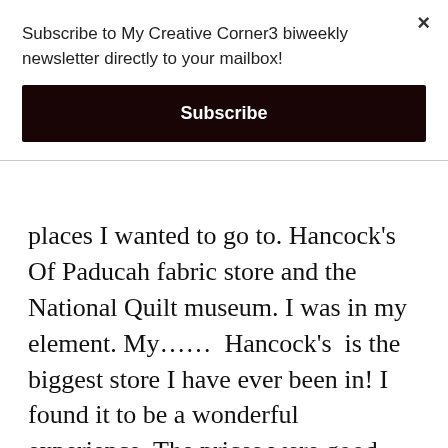Subscribe to My Creative Corner3 biweekly newsletter directly to your mailbox!
Subscribe
places I wanted to go to. Hancock’s Of Paducah fabric store and the National Quilt museum. I was in my element. My……  Hancock’s  is the biggest store I have ever been in! I found it to be a wonderful experience. The prices were good, service wonderful and selection fantastic. I went in with a plan. I wanted to